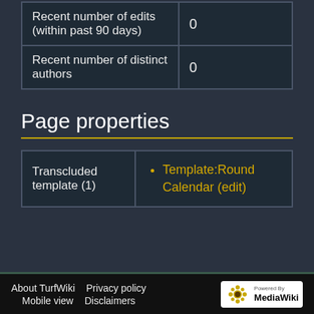|  |  |
| --- | --- |
| Recent number of edits (within past 90 days) | 0 |
| Recent number of distinct authors | 0 |
Page properties
|  |  |
| --- | --- |
| Transcluded template (1) | Template:Round Calendar (edit) |
About TurfWiki   Privacy policy   Mobile view   Disclaimers